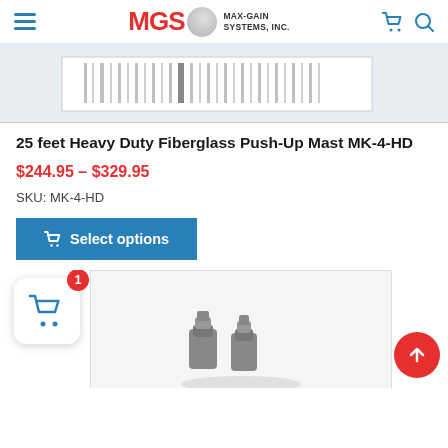MGS MAX-GAIN SYSTEMS, INC.
[Figure (photo): Product image strip showing vertical lines representing barcode or mast product]
25 feet Heavy Duty Fiberglass Push-Up Mast MK-4-HD
$244.95 – $329.95
SKU: MK-4-HD
Select options
[Figure (photo): Bottom portion showing a metal hardware product (clamps/connectors) on white background, with floating cart icon showing badge '1' and red scroll-to-top button]